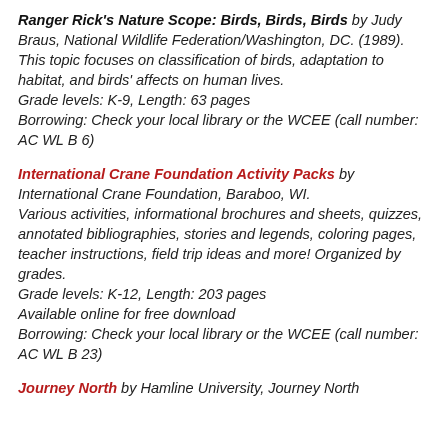Ranger Rick's Nature Scope: Birds, Birds, Birds by Judy Braus, National Wildlife Federation/Washington, DC. (1989).
This topic focuses on classification of birds, adaptation to habitat, and birds' affects on human lives.
Grade levels: K-9, Length: 63 pages
Borrowing: Check your local library or the WCEE (call number: AC WL B 6)
International Crane Foundation Activity Packs by International Crane Foundation, Baraboo, WI.
Various activities, informational brochures and sheets, quizzes, annotated bibliographies, stories and legends, coloring pages, teacher instructions, field trip ideas and more! Organized by grades.
Grade levels: K-12, Length: 203 pages
Available online for free download
Borrowing: Check your local library or the WCEE (call number: AC WL B 23)
Journey North by Hamline University, Journey North